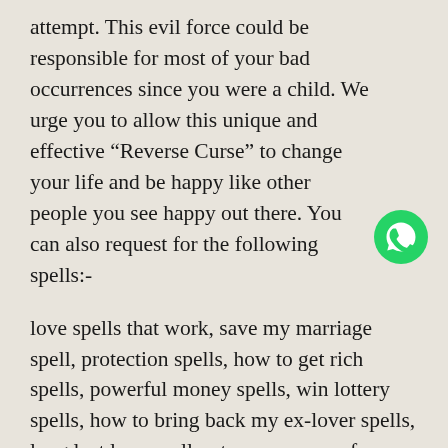attempt. This evil force could be responsible for most of your bad occurrences since you were a child. We urge you to allow this unique and effective “Reverse Curse” to change your life and be happy like other people you see happy out there. You can also request for the following spells:-
love spells that work, save my marriage spell, protection spells, how to get rich spells, powerful money spells, win lottery spells, how to bring back my ex-lover spells, long lost love spells, stop my spouse from cheating love spells, love spells that work, black magic spells, join Illuminati, free love spells that work, spells for long lost lover, love spells that work immediately, real love spells, commitment spells, money spells that work, stop divorce spells, how to attract someone spells, make someone propose spell, Magic Love Spells, Easy Love Spells, Gay Love Spells, Lesbian Love Spells, spells to attract new love, Job Promotion spells that
[Figure (logo): WhatsApp green phone icon]